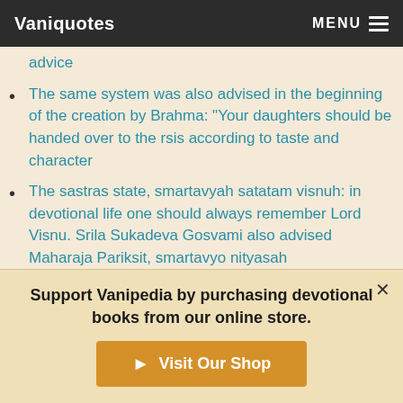Vaniquotes | MENU
advice
The same system was also advised in the beginning of the creation by Brahma: "Your daughters should be handed over to the rsis according to taste and character
The sastras state, smartavyah satatam visnuh: in devotional life one should always remember Lord Visnu. Srila Sukadeva Gosvami also advised Maharaja Pariksit, smartavyo nityasah
The self-realized souls advise us to reject such pseudodevotional practices, which simply create a disturbance on the path of spiritual realization
Support Vanipedia by purchasing devotional books from our online store.
Visit Our Shop